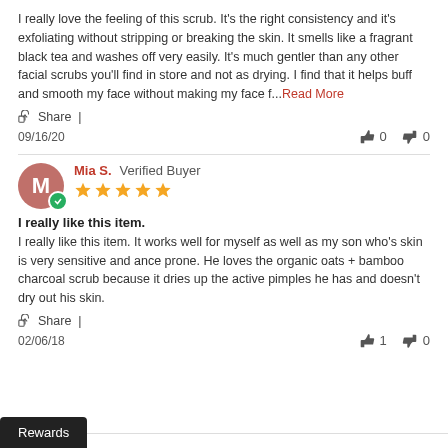I really love the feeling of this scrub. It's the right consistency and it's exfoliating without stripping or breaking the skin. It smells like a fragrant black tea and washes off very easily. It's much gentler than any other facial scrubs you'll find in store and not as drying. I find that it helps buff and smooth my face without making my face f...Read More
Share |
09/16/20  👍 0  👎 0
Mia S. Verified Buyer
I really like this item.
I really like this item. It works well for myself as well as my son who's skin is very sensitive and ance prone. He loves the organic oats + bamboo charcoal scrub because it dries up the active pimples he has and doesn't dry out his skin.
Share |
02/06/18  👍 1  👎 0
Rewards